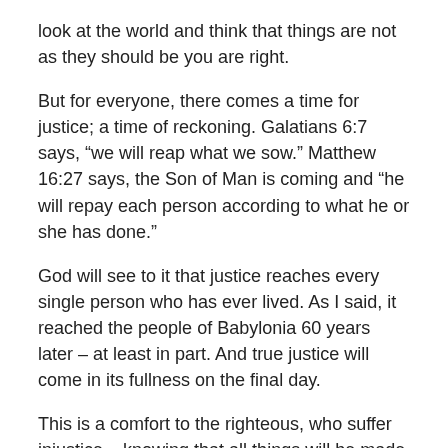look at the world and think that things are not as they should be you are right.
But for everyone, there comes a time for justice; a time of reckoning. Galatians 6:7 says, “we will reap what we sow.” Matthew 16:27 says, the Son of Man is coming and “he will repay each person according to what he or she has done.”
God will see to it that justice reaches every single person who has ever lived. As I said, it reached the people of Babylonia 60 years later – at least in part. And true justice will come in its fullness on the final day.
This is a comfort to the righteous, who suffer injustice – knowing that all things will be made right some day. And it should cause fear to those who do evil.